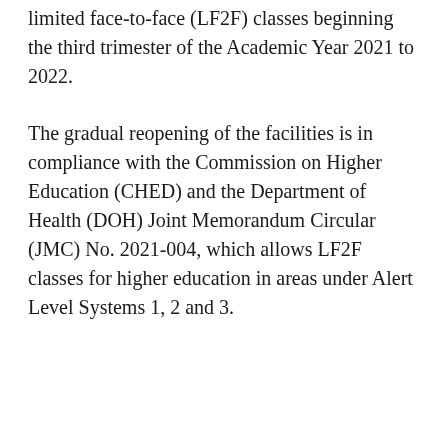limited face-to-face (LF2F) classes beginning the third trimester of the Academic Year 2021 to 2022.
The gradual reopening of the facilities is in compliance with the Commission on Higher Education (CHED) and the Department of Health (DOH) Joint Memorandum Circular (JMC) No. 2021-004, which allows LF2F classes for higher education in areas under Alert Level Systems 1, 2 and 3.